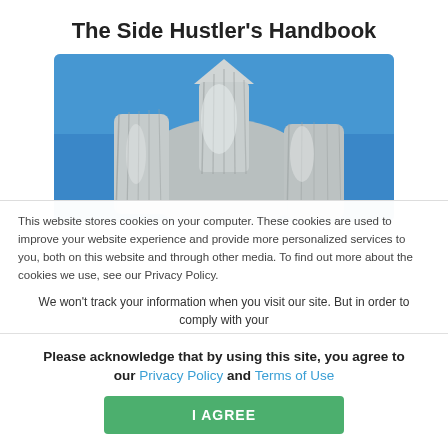The Side Hustler's Handbook
[Figure (photo): A building or structure wrapped in silver/white fabric against a blue sky, resembling Christo-style wrapped architecture.]
This website stores cookies on your computer. These cookies are used to improve your website experience and provide more personalized services to you, both on this website and through other media. To find out more about the cookies we use, see our Privacy Policy.
We won't track your information when you visit our site. But in order to comply with your
Please acknowledge that by using this site, you agree to our Privacy Policy and Terms of Use
I AGREE